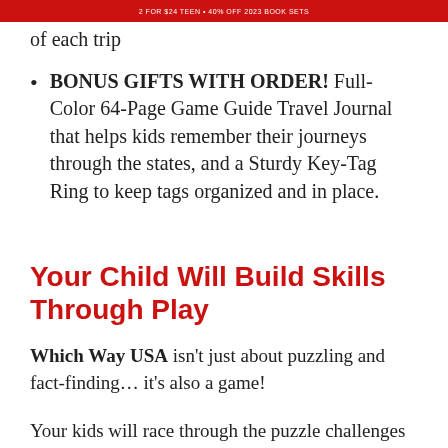2 FOR $24 TEEN • 40% OFF 2023 BOOK SETS
of each trip
BONUS GIFTS WITH ORDER! Full-Color 64-Page Game Guide Travel Journal that helps kids remember their journeys through the states, and a Sturdy Key-Tag Ring to keep tags organized and in place.
Your Child Will Build Skills Through Play
Which Way USA isn't just about puzzling and fact-finding… it's also a game!
Your kids will race through the puzzle challenges in each state set. The more puzzles they complete, the more